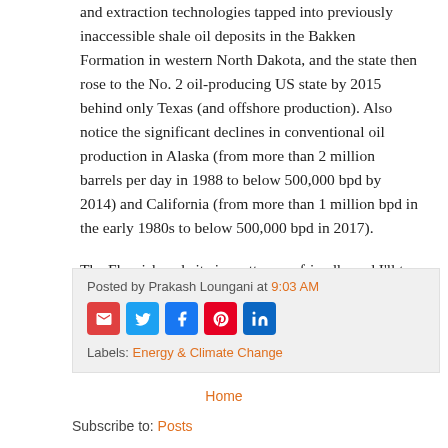and extraction technologies tapped into previously inaccessible shale oil deposits in the Bakken Formation in western North Dakota, and the state then rose to the No. 2 oil-producing US state by 2015 behind only Texas (and offshore production). Also notice the significant declines in conventional oil production in Alaska (from more than 2 million barrels per day in 1988 to below 500,000 bpd by 2014) and California (from more than 1 million bpd in the early 1980s to below 500,000 bpd in 2017).
The Flourish website is pretty user-friendly and I’ll try to produce more “bar chart race” visualizations in the future. If you have any ideas, please leave them in the comment section.”
Posted by Prakash Loungani at 9:03 AM
Labels: Energy & Climate Change
Home
Subscribe to: Posts